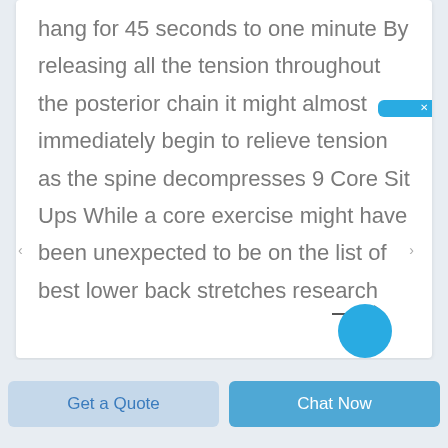hang for 45 seconds to one minute By releasing all the tension throughout the posterior chain it might almost immediately begin to relieve tension as the spine decompresses 9 Core Sit Ups While a core exercise might have been unexpected to be on the list of best lower back stretches research
[Figure (other): Online chat widget in Chinese (在线咨询) with blue background and close button, positioned at top right]
[Figure (other): Right-pointing arrow and partial blue circle chat button at bottom right of content card]
Get a Quote
Chat Now